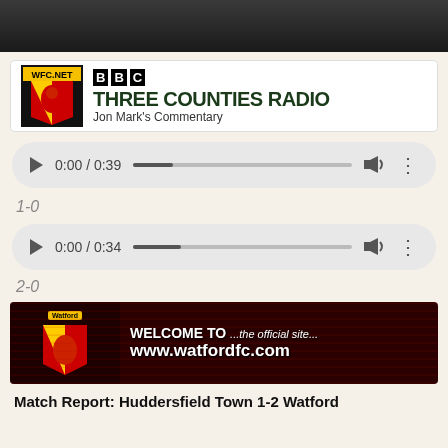[Figure (photo): Dark top image, appears to be a sports/stadium photo]
[Figure (logo): BBC Three Counties Radio banner with WFC.NET Watford FC logo on left, BBC THREE COUNTIES RADIO text and Jon Mark's Commentary subtitle]
[Figure (other): Audio player showing 0:00 / 0:39 with progress bar, volume and options buttons]
1-0
[Figure (other): Audio player showing 0:00 / 0:34 with progress bar, volume and options buttons]
2-0
[Figure (other): Watford FC welcome banner: WELCOME TO ...the official site... www.watfordfc.com]
Match Report: Huddersfield Town 1-2 Watford